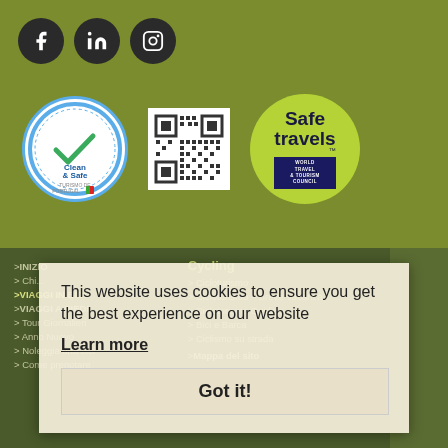[Figure (logo): Three social media icons (Facebook, LinkedIn, Instagram) as white icons on dark circular backgrounds]
[Figure (logo): Clean & Safe Portugal certification badge - circular blue-bordered white badge with green checkmark]
[Figure (other): QR code in white square]
[Figure (logo): Safe travels badge - green circle with 'Safe travels' text and WTTC logo]
> INIZIO
> Chi...
> VIAGGI IN BICI
> VIAGGI A PIEDI
> Tour Giornalieri
> Anno Nuovo
> Noleggia una bici
> Come prenotare
Cycling
> Cicloturismo
> Cicloturismo - Breve Vacanza
> Cicloturismo Guidato
> Bici e Barca
> Ciclismo su strada
> Mappa del sito
This website uses cookies to ensure you get the best experience on our website
Learn more
Got it!